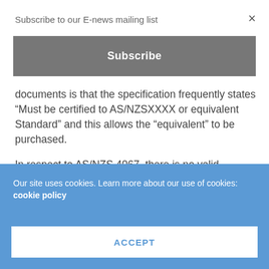Subscribe to our E-news mailing list
Subscribe
documents is that the specification frequently states “Must be certified to AS/NZSXXXX or equivalent Standard” and this allows the “equivalent” to be purchased.
In respect to AS/NZS 4067, there is no valid equivalent Standard. The NFPA 1971:2013 edition is similar but not identical. EN 443:2008 is not equivalent to AS/NZS 4067/2012, and the
Our site uses cookies. Learn more about our use of cookies: cookie policy
ACCEPT